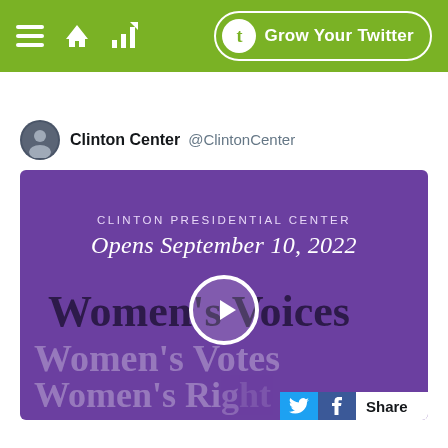[Figure (screenshot): Green navigation bar with hamburger menu, home icon, bar chart icon on the left, and a 'Grow Your Twitter' button with a T icon on the right]
Clinton Center @ClintonCenter
[Figure (photo): Purple promotional image card for Clinton Presidential Center showing 'CLINTON PRESIDENTIAL CENTER Opens September 10, 2022' and 'Women's Voices' in large bold text with faded repeating text rows 'Women's Votes' and 'Women's Ri...' and a play button overlay]
Share